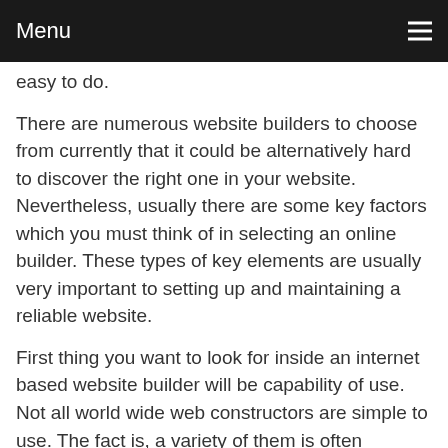Menu
easy to do.
There are numerous website builders to choose from currently that it could be alternatively hard to discover the right one in your website. Nevertheless, usually there are some key factors which you must think of in selecting an online builder. These types of key elements are usually very important to setting up and maintaining a reliable website.
First thing you want to look for inside an internet based website builder will be capability of use. Not all world wide web constructors are simple to use. The fact is, a variety of them is often somewhat complicated. The web page builder will need to have an user friendly place and click interface. In addition, it